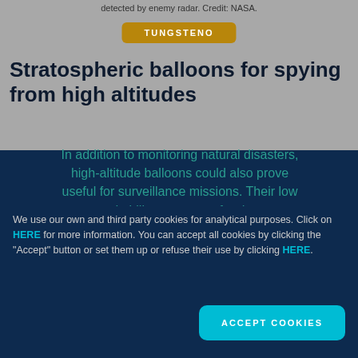detected by enemy radar. Credit: NASA.
TUNGSTENO
Stratospheric balloons for spying from high altitudes
In addition to monitoring natural disasters, high-altitude balloons could also prove useful for surveillance missions. Their low cost and ability to operate for days at a time make them an attractive alternative...
We use our own and third party cookies for analytical purposes. Click on HERE for more information. You can accept all cookies by clicking the "Accept" button or set them up or refuse their use by clicking HERE.